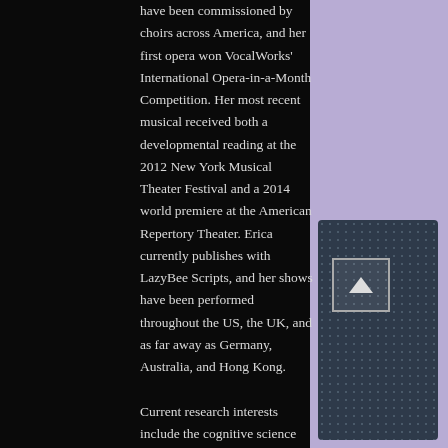have been commissioned by choirs across America, and her first opera won VocalWorks' International Opera-in-a-Month Competition. Her most recent musical received both a developmental reading at the 2012 New York Musical Theater Festival and a 2014 world premiere at the American Repertory Theater. Erica currently publishes with LazyBee Scripts, and her shows have been performed throughout the US, the UK, and as far away as Germany, Australia, and Hong Kong.

Current research interests include the cognitive science behind audience perception of conducting gesture and the lost history and music of the early 20th century Ukrainian composer Stefania Turkewich.